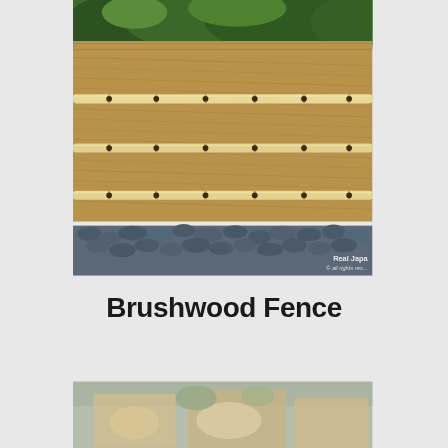[Figure (photo): A Japanese brushwood fence (shiba-gaki) with tawny dried brushwood bundled horizontally, secured by pale bamboo rails running lengthwise across the face, tied at intervals with dark rope. Green trees visible above the fence top. Dark rounded river stones line the base. A 'Real Japan' watermark is visible at lower right.]
Brushwood Fence
[Figure (photo): Partial view of a second photo below, showing what appears to be food items on wooden boards/surfaces — partially visible, cut off at page bottom.]